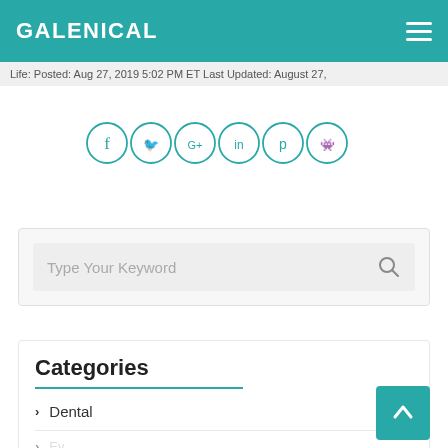GALENICAL
Life. Posted: Aug 27, 2019 5:02 PM ET Last Updated: August 27,
[Figure (infographic): Six circular social media share buttons: Facebook (f), Twitter (bird), Google+ (G+), LinkedIn (in), Pinterest (p), Reddit (alien), all with teal outlines and icons on white background]
Type Your Keyword
Categories
Dental